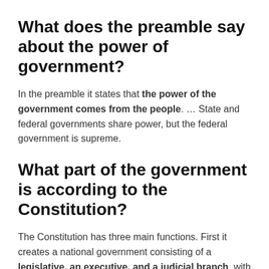What does the preamble say about the power of government?
In the preamble it states that the power of the government comes from the people. … State and federal governments share power, but the federal government is supreme.
What part of the government is according to the Constitution?
The Constitution has three main functions. First it creates a national government consisting of a legislative, an executive, and a judicial branch, with a system of checks and balances among the three branches. Second, it divides power between the federal government and the states.